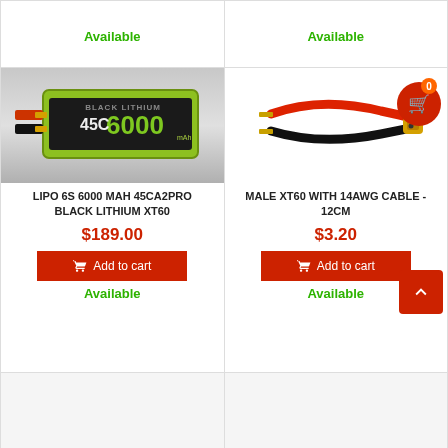Available
Available
[Figure (photo): LIPO 6S 6000 MAH 45CA2PRO Black Lithium XT60 battery product photo]
[Figure (photo): Male XT60 with 14AWG cable 12cm product photo with shopping cart badge overlay]
LIPO 6S 6000 MAH 45CA2PRO BLACK LITHIUM XT60
MALE XT60 WITH 14AWG CABLE - 12CM
$189.00
$3.20
Add to cart
Add to cart
Available
Available